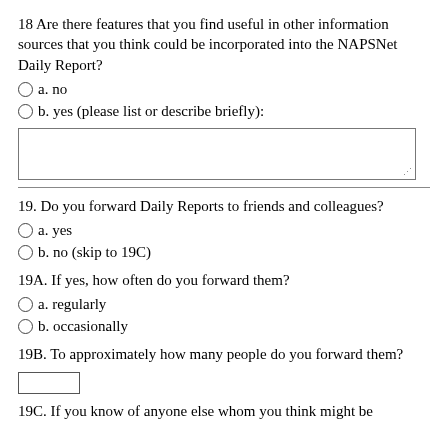18 Are there features that you find useful in other information sources that you think could be incorporated into the NAPSNet Daily Report?
a. no
b. yes (please list or describe briefly):
[text area box]
19. Do you forward Daily Reports to friends and colleagues?
a. yes
b. no (skip to 19C)
19A. If yes, how often do you forward them?
a. regularly
b. occasionally
19B. To approximately how many people do you forward them?
19C. If you know of anyone else whom you think might be